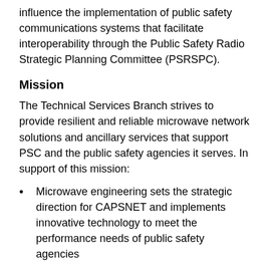influence the implementation of public safety communications systems that facilitate interoperability through the Public Safety Radio Strategic Planning Committee (PSRSPC).
Mission
The Technical Services Branch strives to provide resilient and reliable microwave network solutions and ancillary services that support PSC and the public safety agencies it serves. In support of this mission:
Microwave engineering sets the strategic direction for CAPSNET and implements innovative technology to meet the performance needs of public safety agencies
Engineers interface with the FCC to manage and license public safety radio spectrum
Specialized engineers conduct environmental and compliance testing of radio equipment